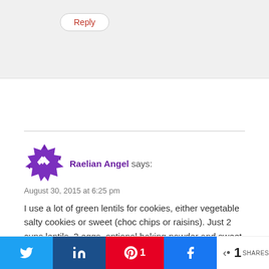Reply
Raelian Angel says:
August 30, 2015 at 6:25 pm
I use a lot of green lentils for cookies, either vegetable salty cookies or sweet (choc chips or raisins). Just 2 cups lentils, 2 eggs, optional baking powder and sweet or salty seasonings. 15 min 350.
I want to freeze lentils and chickpeas as I live alone and tend to waste big batches (get bored of eating same meal